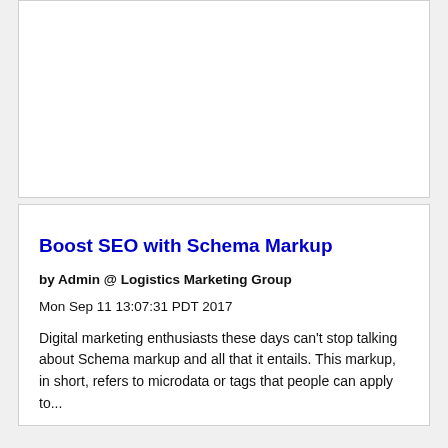[Figure (other): Empty white card/box at the top of the page]
Boost SEO with Schema Markup
by Admin @ Logistics Marketing Group
Mon Sep 11 13:07:31 PDT 2017
Digital marketing enthusiasts these days can't stop talking about Schema markup and all that it entails. This markup, in short, refers to microdata or tags that people can apply to...